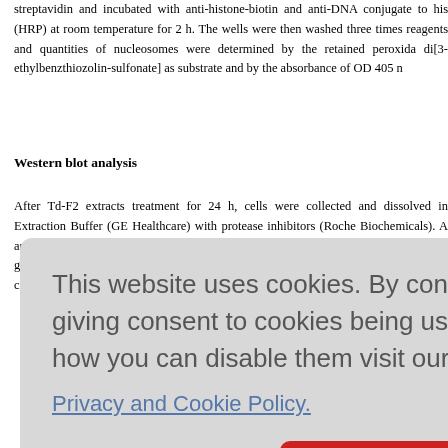streptavidin and incubated with anti-histone-biotin and anti-DNA conjugate to HRP (HRP) at room temperature for 2 h. The wells were then washed three times reagents and quantities of nucleosomes were determined by the retained peroxida di[3-ethylbenzthiozolin-sulfonate] as substrate and by the absorbance of OD 405 n
Western blot analysis
After Td-F2 extracts treatment for 24 h, cells were collected and dissolved in Extraction Buffer (GE Healthcare) with protease inhibitors (Roche Biochemicals). A and protein quantitation, cell lysates were then subjected to 10% sodi polyacrylamide gel electrophoresis (SDS-PAGE) and immunoblotted with the f caspase-8, caspase-9, caspase-3, PARP (Cell Signaling), Bax, Bcl-xL, and Biochemicals).
[Figure (screenshot): Cookie consent popup overlay with message: 'This website uses cookies. By continuing to use this website you are giving consent to cookies being used. For information on cookies and how you can disable them visit our Privacy and Cookie Policy.' with an AGREE & PROCEED red button.]
and liver c ffective in h tate extrac uman hepa tivities of T EA with met
hexane and ethyl acetate mixture (0.2, 0.4, 4.0, 2.0, or 0.1 for Td-F1 to Td-F5, res in [Figure 1] and "Material and Methods" section. We first tested the growth